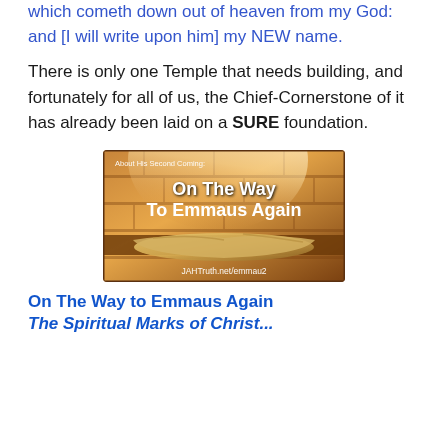which cometh down out of heaven from my God: and [I will write upon him] my NEW name.
There is only one Temple that needs building, and fortunately for all of us, the Chief-Cornerstone of it has already been laid on a SURE foundation.
[Figure (illustration): Book cover image with warm brown tones showing an empty tomb with burial cloths. Text reads: 'About His Second Coming: On The Way To Emmaus Again' and 'JAHTruth.net/emmau2']
On The Way to Emmaus Again
The Spiritual Marks of Christ...